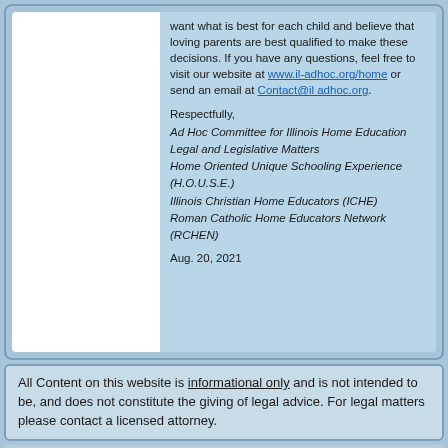want what is best for each child and believe that loving parents are best qualified to make these decisions. If you have any questions, feel free to visit our website at www.il-adhoc.org/home or send an email at Contact@il adhoc.org.
Respectfully, Ad Hoc Committee for Illinois Home Education Legal and Legislative Matters Home Oriented Unique Schooling Experience (H.O.U.S.E.) Illinois Christian Home Educators (ICHE) Roman Catholic Home Educators Network (RCHEN)
Aug. 20, 2021
All Content on this website is informational only and is not intended to be, and does not constitute the giving of legal advice. For legal matters please contact a licensed attorney.
Sign in | Recent Site Activity | Report Abuse | Print Page | Powered By Google Sites